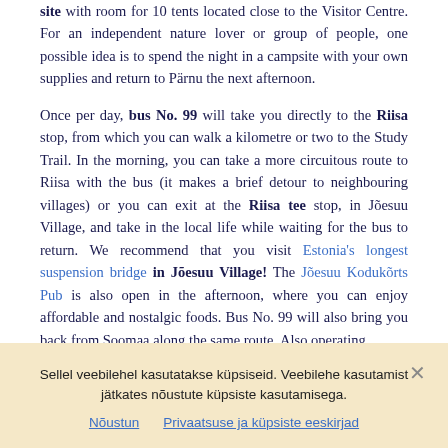site with room for 10 tents located close to the Visitor Centre. For an independent nature lover or group of people, one possible idea is to spend the night in a campsite with your own supplies and return to Pärnu the next afternoon.
Once per day, bus No. 99 will take you directly to the Riisa stop, from which you can walk a kilometre or two to the Study Trail. In the morning, you can take a more circuitous route to Riisa with the bus (it makes a brief detour to neighbouring villages) or you can exit at the Riisa tee stop, in Jõesuu Village, and take in the local life while waiting for the bus to return. We recommend that you visit Estonia's longest suspension bridge in Jõesuu Village! The Jõesuu Kodukõrts Pub is also open in the afternoon, where you can enjoy affordable and nostalgic foods. Bus No. 99 will also bring you back from Soomaa along the same route. Also operating
Sellel veebilehel kasutatakse küpsiseid. Veebilehe kasutamist jätkates nõustute küpsiste kasutamisega.
Nõustun    Privaatsuse ja küpsiste eeskirjad